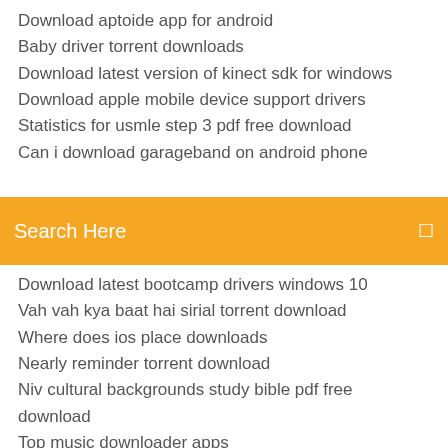Download aptoide app for android
Baby driver torrent downloads
Download latest version of kinect sdk for windows
Download apple mobile device support drivers
Statistics for usmle step 3 pdf free download
Can i download garageband on android phone
[Figure (screenshot): Orange search bar with text 'Search Here' and a search icon on the right]
Download latest bootcamp drivers windows 10
Vah vah kya baat hai sirial torrent download
Where does ios place downloads
Nearly reminder torrent download
Niv cultural backgrounds study bible pdf free download
Top music downloader apps
Samsung universal print driver 2 download windows 7
Pandavullo okkadu free download torrent
Easeus todo for 32 bit free version download
Free music downloader pc